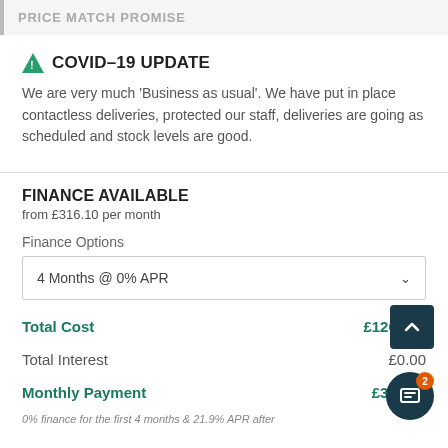PRICE MATCH PROMISE
COVID-19 UPDATE
We are very much 'Business as usual'. We have put in place contactless deliveries, protected our staff, deliveries are going as scheduled and stock levels are good.
FINANCE AVAILABLE
from £316.10 per month
Finance Options
4 Months @ 0% APR
|  |  |
| --- | --- |
| Total Cost | £1264.42 |
| Total Interest | £0.00 |
| Monthly Payment | £316.10 |
0% finance for the first 4 months & 21.9% APR after